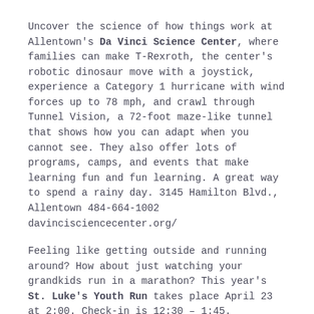Uncover the science of how things work at Allentown's Da Vinci Science Center, where families can make T-Rexroth, the center's robotic dinosaur move with a joystick, experience a Category 1 hurricane with wind forces up to 78 mph, and crawl through Tunnel Vision, a 72-foot maze-like tunnel that shows how you can adapt when you cannot see. They also offer lots of programs, camps, and events that make learning fun and fun learning. A great way to spend a rainy day. 3145 Hamilton Blvd., Allentown 484-664-1002 davincisciencecenter.org/
Feeling like getting outside and running around? How about just watching your grandkids run in a marathon? This year's St. Luke's Youth Run takes place April 23 at 2:00. Check-in is 12:30 – 1:45. Participation is free, and all children (ages 3 through 14) must register on online. Location is Lehigh Parkway, 1600 Park Drive, Allentown. For more complete information, visit stlukeshalfmarathon.com/youth-run/.